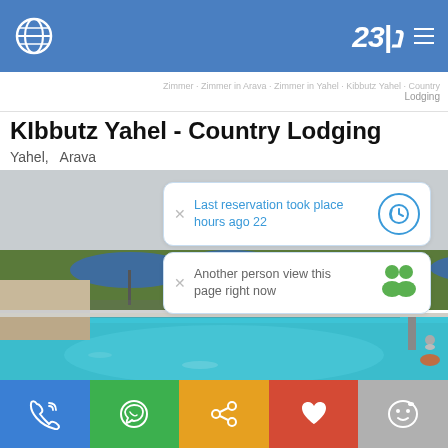Kibbutz Yahel - Country Lodging app header with globe icon and logo
Zimmer · Zimmer in Arava · Zimmer in Yahel · Kibbutz Yahel · Country Lodging
KIbbutz Yahel - Country Lodging
Yahel, Arava
[Figure (photo): Outdoor swimming pool at Kibbutz Yahel with blue water, palm trees, blue shade structures, people swimming and sunbathing, and a diving platform on the right]
Last reservation took place hours ago 22
Another person view this page right now